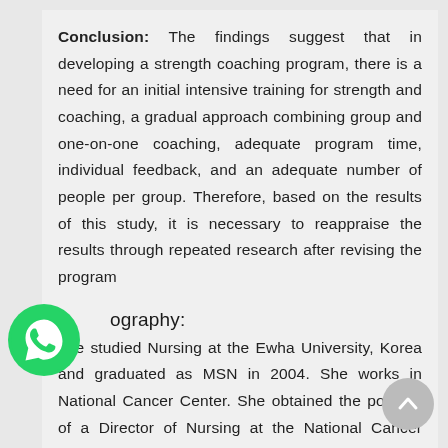Conclusion: The findings suggest that in developing a strength coaching program, there is a need for an initial intensive training for strength and coaching, a gradual approach combining group and one-on-one coaching, adequate program time, individual feedback, and an adequate number of people per group. Therefore, based on the results of this study, it is necessary to reappraise the results through repeated research after revising the program
ography:
Lee studied Nursing at the Ewha University, Korea and graduated as MSN in 2004. She works in National Cancer Center. She obtained the position of a Director of Nursing at the National Cancer Center in republic in